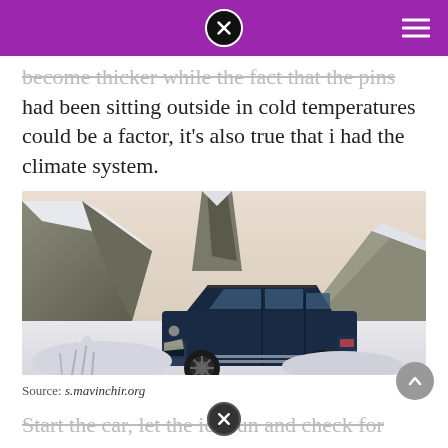[close button] [hamburger menu]
become thicker while the fact that the pins had been sitting outside in cold temperatures could be a factor, it's also true that i had the climate system.
[Figure (photo): A dark navy blue Mercedes-Benz GLE SUV parked in a snowy rocky mountain landscape with snow-covered rocks and frosted vegetation in the foreground.]
Source: s.mavinchir.org
Start the car, let the ice run and check for